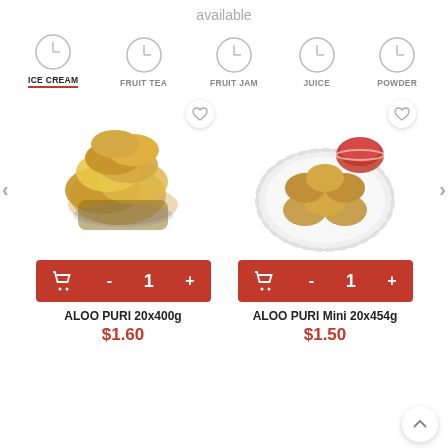available
[Figure (screenshot): Category navigation bar with clock icons for ICE CREAM (active, underlined), FRUIT TEA, FRUIT JAM, JUICE, POWDER]
[Figure (photo): Aloo Puri bread/flatbread pieces in a basket on burlap cloth]
[Figure (photo): Aloo Puri Mini on a white scalloped plate with red chutney in a bowl]
ALOO PURI 20x400g
$1.60
ALOO PURI Mini 20x454g
$1.50